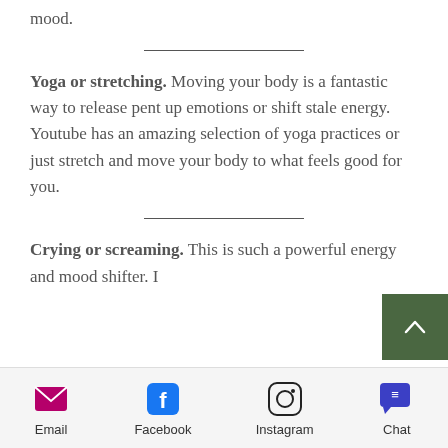mood.
Yoga or stretching. Moving your body is a fantastic way to release pent up emotions or shift stale energy. Youtube has an amazing selection of yoga practices or just stretch and move your body to what feels good for you.
Crying or screaming. This is such a powerful energy and mood shifter. I